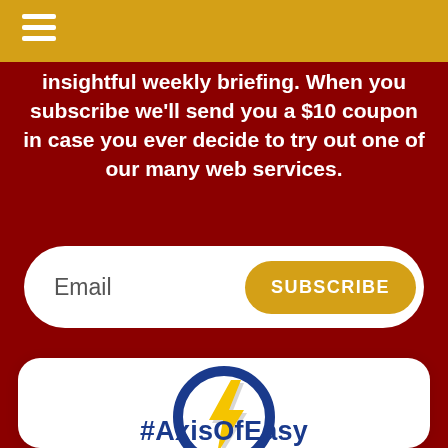[Figure (screenshot): Golden top navigation bar with white hamburger menu icon]
insightful weekly briefing. When you subscribe we'll send you a $10 coupon in case you ever decide to try out one of our many web services.
[Figure (infographic): Email input field with SUBSCRIBE button on dark red background]
[Figure (logo): AxisOfEasy logo: blue circle with yellow lightning bolt]
#AxisOfEasy